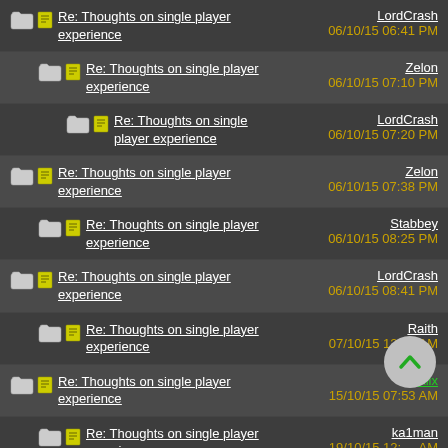Re: Thoughts on single player experience | LordCrash | 06/10/15 06:41 PM
Re: Thoughts on single player experience | Zelon | 06/10/15 07:10 PM
Re: Thoughts on single player experience | LordCrash | 06/10/15 07:20 PM
Re: Thoughts on single player experience | Zelon | 06/10/15 07:38 PM
Re: Thoughts on single player experience | Stabbey | 06/10/15 08:25 PM
Re: Thoughts on single player experience | LordCrash | 06/10/15 08:41 PM
Re: Thoughts on single player experience | Raith | 07/10/15 12:19 AM
Re: Thoughts on single player experience | Alix | 15/10/15 07:53 AM
Re: Thoughts on single player experience | ka1man | 19/10/15 12:__ AM
Re: Thoughts on single player experience | Raze | 19/10/15 01:43 PM